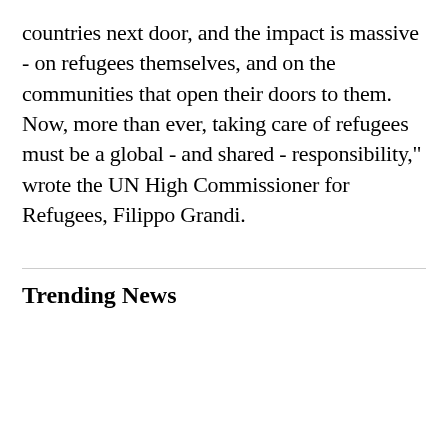countries next door, and the impact is massive - on refugees themselves, and on the communities that open their doors to them. Now, more than ever, taking care of refugees must be a global - and shared - responsibility," wrote the UN High Commissioner for Refugees, Filippo Grandi.
Trending News
[Figure (screenshot): Mobile app chooser modal with CBS News App (OPEN button) and Safari (CONTINUE button) options, titled 'View CBS News In']